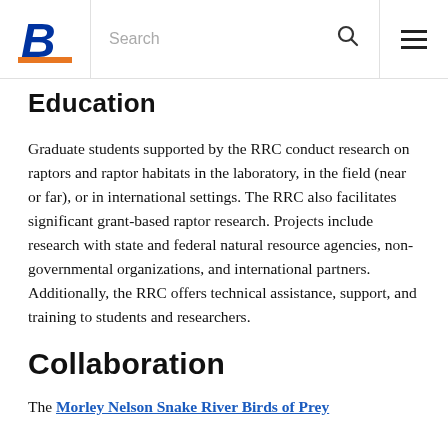Boise State University — Search / Menu navigation bar
Education
Graduate students supported by the RRC conduct research on raptors and raptor habitats in the laboratory, in the field (near or far), or in international settings. The RRC also facilitates significant grant-based raptor research. Projects include research with state and federal natural resource agencies, non-governmental organizations, and international partners. Additionally, the RRC offers technical assistance, support, and training to students and researchers.
Collaboration
The Morley Nelson Snake River Birds of Prey